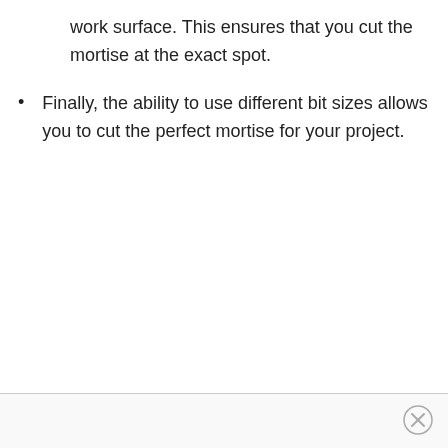work surface. This ensures that you cut the mortise at the exact spot.
Finally, the ability to use different bit sizes allows you to cut the perfect mortise for your project.